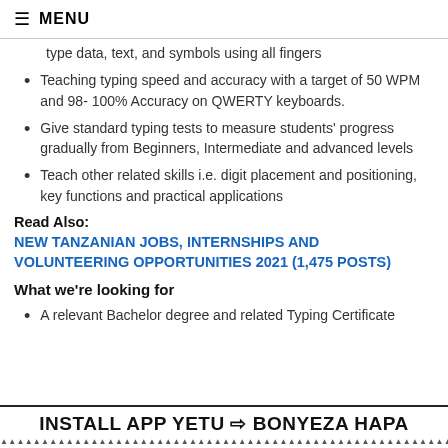≡ MENU
type data, text, and symbols using all fingers
Teaching typing speed and accuracy with a target of 50 WPM and 98- 100% Accuracy on QWERTY keyboards.
Give standard typing tests to measure students' progress gradually from Beginners, Intermediate and advanced levels
Teach other related skills i.e. digit placement and positioning, key functions and practical applications
Read Also:
NEW TANZANIAN JOBS, INTERNSHIPS AND VOLUNTEERING OPPORTUNITIES 2021 (1,475 POSTS)
What we're looking for
A relevant Bachelor degree and related Typing Certificate
INSTALL APP YETU ⇒ BONYEZA HAPA